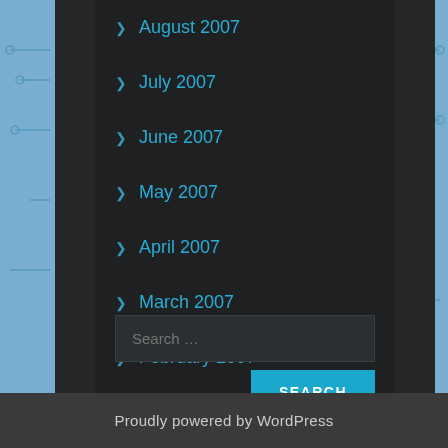August 2007
July 2007
June 2007
May 2007
April 2007
March 2007
February 2007
January 2007
Search ...
SEARCH
Proudly powered by WordPress